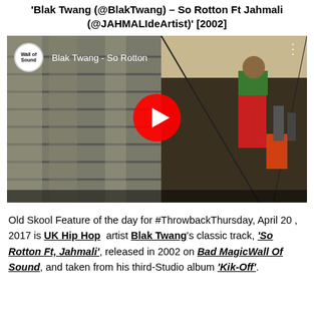Blak Twang (@BlakTwang) – So Rotton Ft Jahmali (@JAHMALIdeArtist)' [2002]
[Figure (screenshot): YouTube video thumbnail showing Blak Twang - So Rotton music video with red play button overlay, Wall of Sound logo top left]
Old Skool Feature of the day for #ThrowbackThursday, April 20 , 2017 is UK Hip Hop artist Blak Twang's classic track, 'So Rotton Ft, Jahmali', released in 2002 on Bad MagicWall Of Sound, and taken from his third-Studio album 'Kik-Off'.